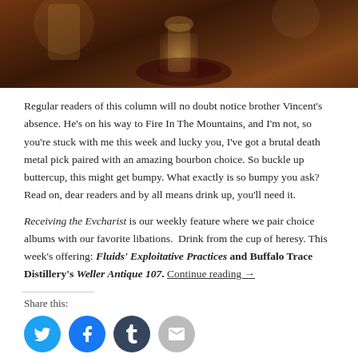[Figure (photo): Dark warm-toned photo of glasses and a spilled liquid on a wooden surface, atmospheric lighting with amber and brown tones]
Regular readers of this column will no doubt notice brother Vincent's absence. He's on his way to Fire In The Mountains, and I'm not, so you're stuck with me this week and lucky you, I've got a brutal death metal pick paired with an amazing bourbon choice. So buckle up buttercup, this might get bumpy. What exactly is so bumpy you ask? Read on, dear readers and by all means drink up, you'll need it.
Receiving the Evcharist is our weekly feature where we pair choice albums with our favorite libations.  Drink from the cup of heresy. This week's offering: Fluids' Exploitative Practices and Buffalo Trace Distillery's Weller Antique 107. Continue reading →
Share this:
[Figure (infographic): Social sharing icons: Twitter (blue circle), Facebook (blue circle), Tumblr (dark blue circle), Email (gray circle)]